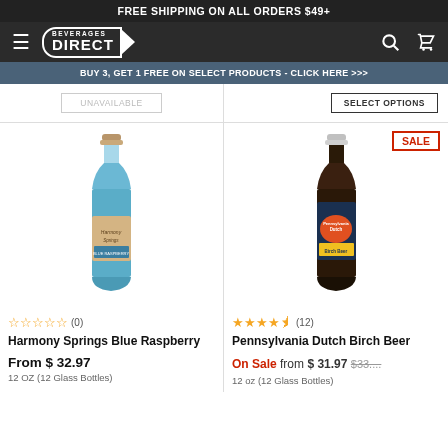FREE SHIPPING ON ALL ORDERS $49+
[Figure (logo): Beverages Direct logo with hamburger menu, search icon, and cart icon on dark nav bar]
BUY 3, GET 1 FREE ON SELECT PRODUCTS - CLICK HERE >>>
UNAVAILABLE
SELECT OPTIONS
[Figure (photo): Harmony Springs Blue Raspberry soda bottle - blue liquid in glass bottle with tan label]
☆☆☆☆☆ (0)
Harmony Springs Blue Raspberry
From $ 32.97
12 OZ (12 Glass Bottles)
[Figure (photo): Pennsylvania Dutch Birch Beer bottle - dark liquid in glass bottle with colorful label]
★★★★½ (12)
Pennsylvania Dutch Birch Beer
On Sale from $ 31.97 $33.... 
12 oz (12 Glass Bottles)